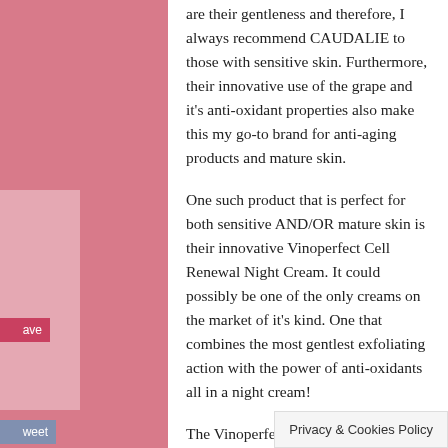are their gentleness and therefore, I always recommend CAUDALIE to those with sensitive skin. Furthermore, their innovative use of the grape and it's anti-oxidant properties also make this my go-to brand for anti-aging products and mature skin.
One such product that is perfect for both sensitive AND/OR mature skin is their innovative Vinoperfect Cell Renewal Night Cream. It could possibly be one of the only creams on the market of it's kind. One that combines the most gentlest exfoliating action with the power of anti-oxidants all in a night cream!
The Vinoperfect Cell Renewal Night Cream certainly lives up to it's name sake, offering gentle exfoliation and skin renewal as you sleep so that you can wake up to skin that is smoother, brighter, more
Privacy & Cookies Policy